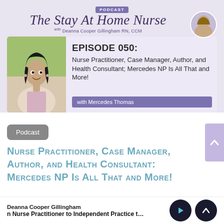[Figure (screenshot): Podcast banner for 'The Stay At Home Nurse' with host photo and PODCAST label on lavender background]
The Stay At Home Nurse
with Deanna Cooper Gillingham RN, CCM
[Figure (photo): Guest photo of Mercedes Thomas, a smiling woman with long dark hair]
EPISODE 050:
Nurse Practitioner, Case Manager, Author, and Health Consultant; Mercedes NP Is All That and More!
with Mercedes Thomas
Podcast
Nurse Practitioner, Case Manager, Author, and Health Consultant: Mercedes NP Is All That and More!
Deanna Cooper Gillingham
n Nurse Practitioner to Independent Practice t…